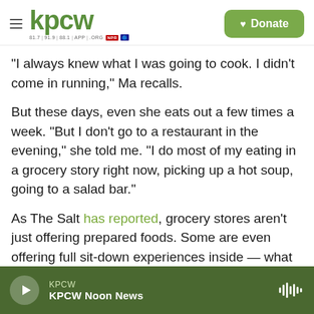KPCW — hamburger menu, logo, Donate button
"I always knew what I was going to cook. I didn't come in running," Ma recalls.
But these days, even she eats out a few times a week. "But I don't go to a restaurant in the evening," she told me. "I do most of my eating in a grocery story right now, picking up a hot soup, going to a salad bar."
As The Salt has reported, grocery stores aren't just offering prepared foods. Some are even offering full sit-down experiences inside — what Bonnie Riggs, a restaurant industry analyst for the NPD
KPCW — KPCW Noon News